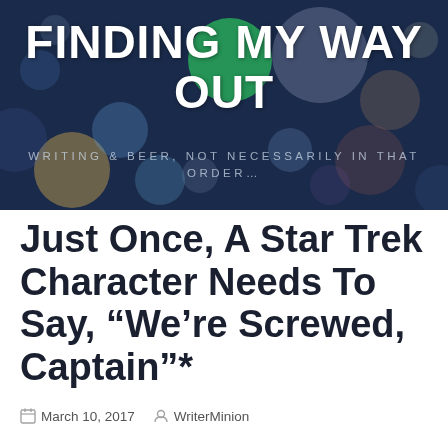[Figure (photo): Blog header banner with dark blue bokeh/blurred lights background, green and multicolored circular bokeh lights visible]
FINDING MY WAY OUT
WRITING & BEER, NOT NECESSARILY IN THAT ORDER...
Just Once, A Star Trek Character Needs To Say, “We’re Screwed, Captain”*
March 10, 2017   WriterMinion